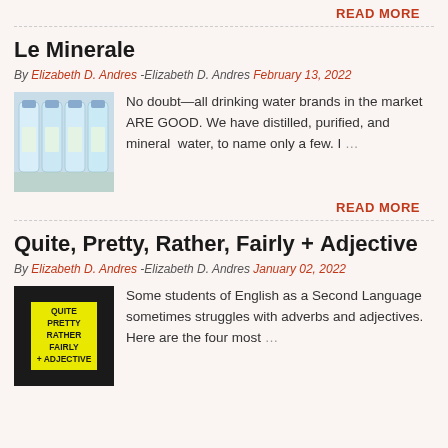READ MORE
Le Minerale
By Elizabeth D. Andres -Elizabeth D. Andres February 13, 2022
[Figure (photo): Several bottles of Le Minerale water]
No doubt—all drinking water brands in the market ARE GOOD. We have distilled, purified, and mineral  water, to name only a few. I …
READ MORE
Quite, Pretty, Rather, Fairly + Adjective
By Elizabeth D. Andres -Elizabeth D. Andres January 02, 2022
[Figure (illustration): Yellow panel with text: QUITE PRETTY RATHER FAIRLY + ADJECTIVE on black background]
Some students of English as a Second Language sometimes struggles with adverbs and adjectives. Here are the four most …